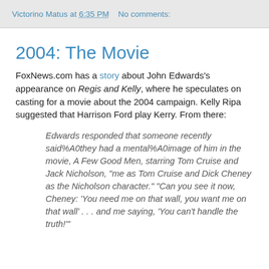Victorino Matus at 6:35 PM   No comments:
2004: The Movie
FoxNews.com has a story about John Edwards's appearance on Regis and Kelly, where he speculates on casting for a movie about the 2004 campaign. Kelly Ripa suggested that Harrison Ford play Kerry. From there:
Edwards responded that someone recently said%A0they had a mental%A0image of him in the movie, A Few Good Men, starring Tom Cruise and Jack Nicholson, "me as Tom Cruise and Dick Cheney as the Nicholson character." "Can you see it now, Cheney: 'You need me on that wall, you want me on that wall' . . . and me saying, 'You can't handle the truth!'"